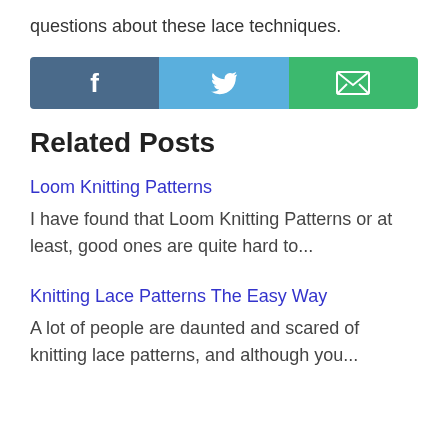questions about these lace techniques.
[Figure (infographic): Social sharing bar with three buttons: Facebook (dark blue, 'f' icon), Twitter (light blue, bird icon), Email (green, envelope icon)]
Related Posts
Loom Knitting Patterns
I have found that Loom Knitting Patterns or at least, good ones are quite hard to...
Knitting Lace Patterns The Easy Way
A lot of people are daunted and scared of knitting lace patterns, and although you...